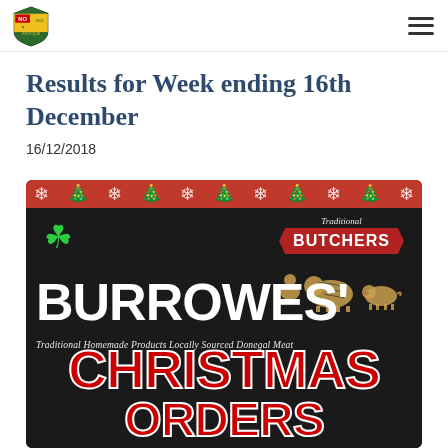Dunfanaghy Golf Club logo and navigation menu
Results for Week ending 16th December
16/12/2018
[Figure (photo): Advertisement for Burrowes' Traditional Butchers showing Christmas Orders sign with green shamrock, animal silhouettes, and red/white text on dark background. Tagline: Traditional Homemade Products Locally Sourced Donegal Meat.]